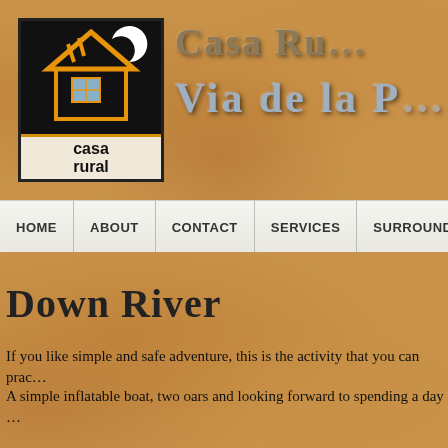[Figure (logo): Casa Rural logo: black square with orange house outline and white crescent moon, text 'casa rural' below]
Casa Ru… VIA DE LA P…
HOME | ABOUT | CONTACT | SERVICES | SURROUNDS AND SIGHT…
Down River
If you like simple and safe adventure, this is the activity that you can prac…
A simple inflatable boat, two oars and looking forward to spending a day …